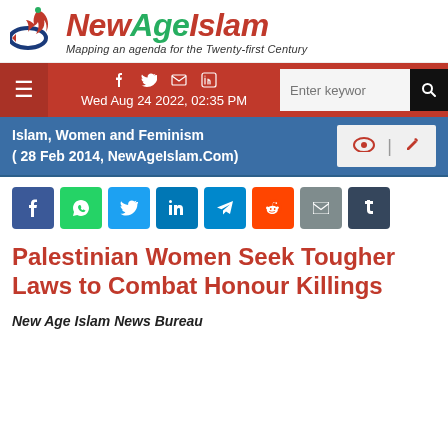[Figure (logo): NewAgeIslam logo with tagline 'Mapping an agenda for the Twenty-first Century']
Wed Aug 24 2022, 02:35 PM
Islam, Women and Feminism
( 28 Feb 2014, NewAgeIslam.Com)
[Figure (infographic): Social share buttons: Facebook, WhatsApp, Twitter, LinkedIn, Telegram, Reddit, Email, Tumblr]
Palestinian Women Seek Tougher Laws to Combat Honour Killings
New Age Islam News Bureau